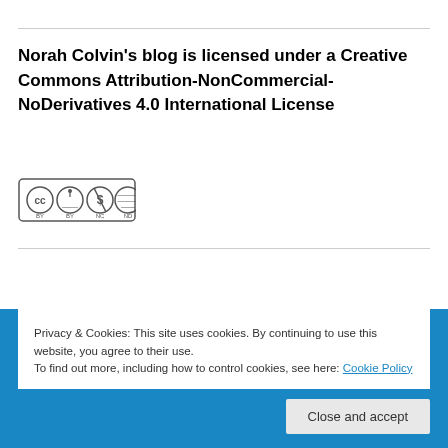Norah Colvin's blog is licensed under a Creative Commons Attribution-NonCommercial-NoDerivatives 4.0 International License
[Figure (logo): Creative Commons BY NC ND license badge showing CC, BY, NC, ND icons]
Privacy & Cookies: This site uses cookies. By continuing to use this website, you agree to their use. To find out more, including how to control cookies, see here: Cookie Policy